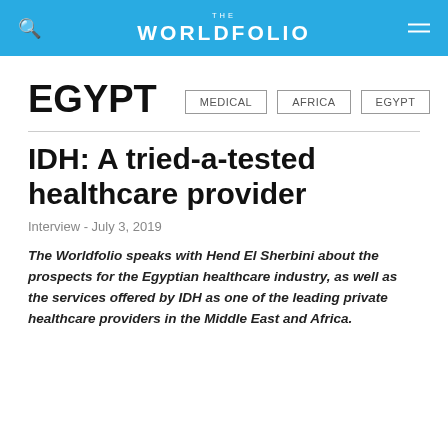THE WORLDFOLIO
EGYPT
MEDICAL   AFRICA   EGYPT
IDH: A tried-a-tested healthcare provider
Interview - July 3, 2019
The Worldfolio speaks with Hend El Sherbini about the prospects for the Egyptian healthcare industry, as well as the services offered by IDH as one of the leading private healthcare providers in the Middle East and Africa.